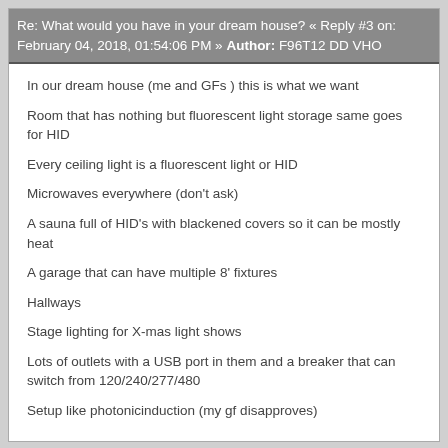Re: What would you have in your dream house? « Reply #3 on: February 04, 2018, 01:54:06 PM » Author: F96T12 DD VHO
In our dream house (me and GFs ) this is what we want
Room that has nothing but fluorescent light storage same goes for HID
Every ceiling light is a fluorescent light or HID
Microwaves everywhere (don't ask)
A sauna full of HID's with blackened covers so it can be mostly heat
A garage that can have multiple 8' fixtures
Hallways
Stage lighting for X-mas light shows
Lots of outlets with a USB port in them and a breaker that can switch from 120/240/277/480
Setup like photonicinduction (my gf disapproves)